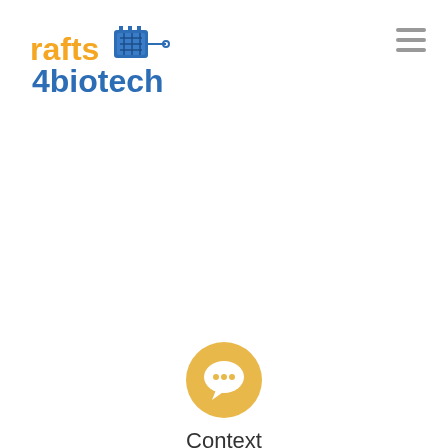[Figure (logo): rafts4biotech logo: orange 'rafts' text, blue circuit-board graphic, and blue '4biotech' text]
[Figure (logo): Hamburger menu icon (three horizontal lines) in top right corner]
[Figure (illustration): Golden/yellow circular chat bubble icon with white speech bubble inside]
Context